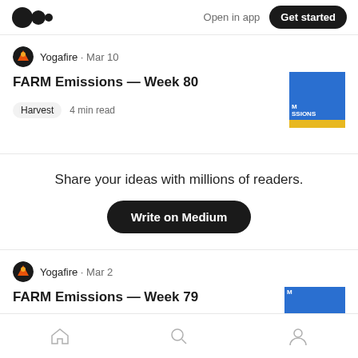Medium — Open in app — Get started
Yogafire · Mar 10
FARM Emissions — Week 80
Harvest   4 min read
Share your ideas with millions of readers.
Write on Medium
Yogafire · Mar 2
FARM Emissions — Week 79
Home  Search  Profile